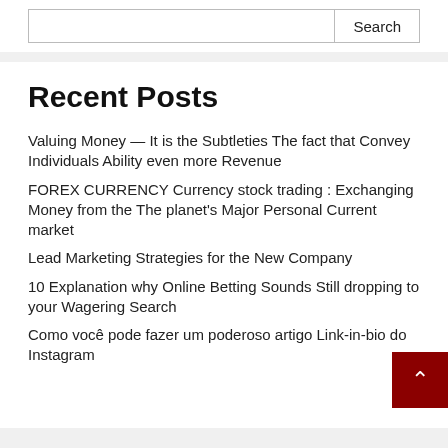Search
Recent Posts
Valuing Money — It is the Subtleties The fact that Convey Individuals Ability even more Revenue
FOREX CURRENCY Currency stock trading : Exchanging Money from the The planet's Major Personal Current market
Lead Marketing Strategies for the New Company
10 Explanation why Online Betting Sounds Still dropping to your Wagering Search
Como você pode fazer um poderoso artigo Link-in-bio do Instagram